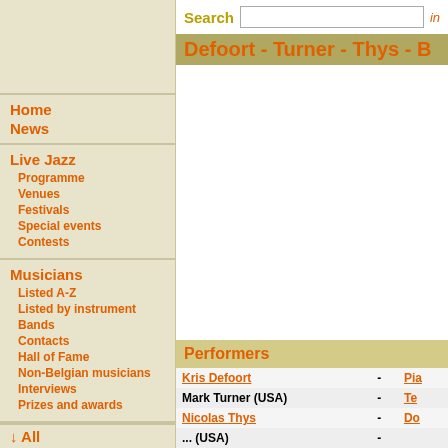Search  in
Defoort - Turner - Thys - B
Home
News
Live Jazz
Programme
Venues
Festivals
Special events
Contests
Musicians
Listed A-Z
Listed by instrument
Bands
Contacts
Hall of Fame
Non-Belgian musicians
Interviews
Prizes and awards
Performers
| Name |  | Instrument |
| --- | --- | --- |
| Kris Defoort | - | Pia |
| Mark Turner (USA) | - | Te |
| Nicolas Thys | - | Do |
| ... (USA) | - |  |